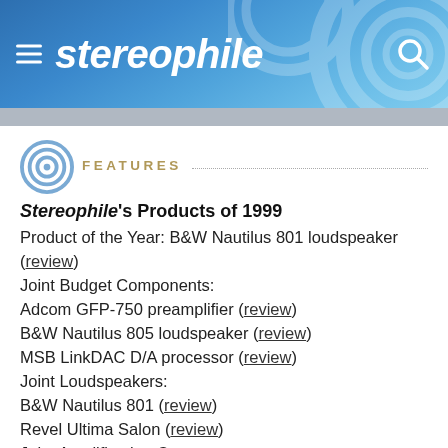stereophile
FEATURES
Stereophile's Products of 1999
Product of the Year: B&W Nautilus 801 loudspeaker (review)
Joint Budget Components:
Adcom GFP-750 preamplifier (review)
B&W Nautilus 805 loudspeaker (review)
MSB LinkDAC D/A processor (review)
Joint Loudspeakers:
B&W Nautilus 801 (review)
Revel Ultima Salon (review)
Joint Amplification Components: